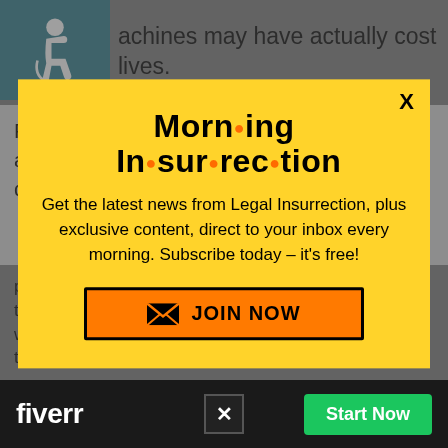achines may have actually cost lives.
For so many sick COVID-19 patients, getting attached to a mechanical ventilator was a death
[Figure (screenshot): Morning Insurrection email signup modal overlay on a news article page. Yellow background modal with title 'Morn·ing In·sur·rec·tion', subtitle text 'Get the latest news from Legal Insurrection, plus exclusive content, direct to your inbox every morning. Subscribe today – it's free!', and an orange JOIN NOW button with envelope icon. X close button in top right.]
problems. But then disc orn in the medi community turned to wh er the ma lines we ng to
[Figure (screenshot): Fiverr advertisement banner at bottom of page. Dark background with white 'fiverr' logo on left, X close button in center, and green 'Start Now' button on right.]